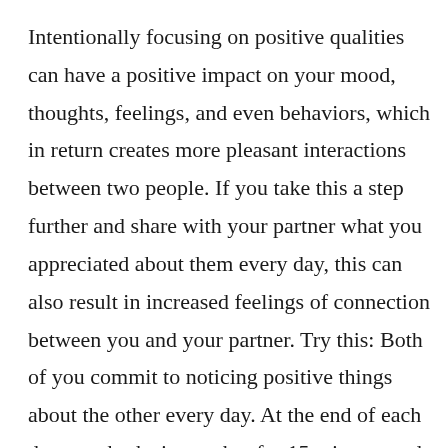Intentionally focusing on positive qualities can have a positive impact on your mood, thoughts, feelings, and even behaviors, which in return creates more pleasant interactions between two people. If you take this a step further and share with your partner what you appreciated about them every day, this can also result in increased feelings of connection between you and your partner. Try this: Both of you commit to noticing positive things about the other every day. At the end of each day, you both sit together for 15 minutes and take turns sharing (remembering to stick to the positive). Do this for one week, or one month, and at the end discuss what positive changes you noticed in your relationship with each other. The longer you do this, the more naturally your brain...